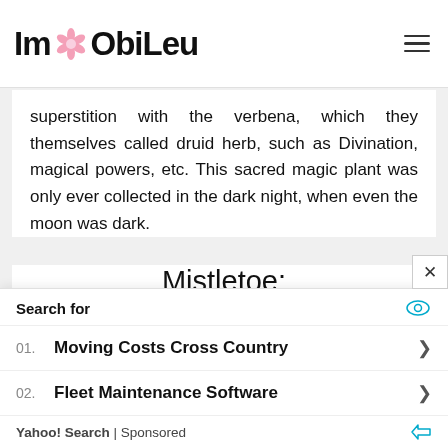ImObiLeu
superstition with the verbena, which they themselves called druid herb, such as Divination, magical powers, etc. This sacred magic plant was only ever collected in the dark night, when even the moon was dark.
Mistletoe:
[Figure (photo): Close-up photo of mistletoe plant with green stems and white berries]
Search for
01. Moving Costs Cross Country
02. Fleet Maintenance Software
Yahoo! Search | Sponsored